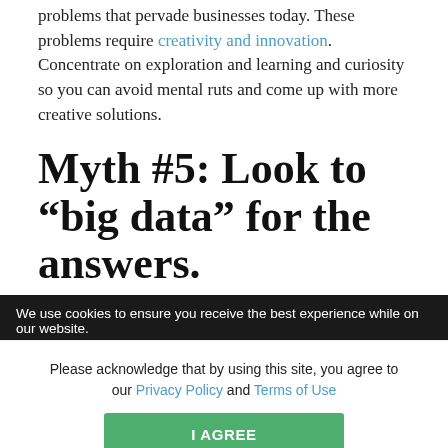problems that pervade businesses today. These problems require creativity and innovation. Concentrate on exploration and learning and curiosity so you can avoid mental ruts and come up with more creative solutions.
Myth #5: Look to “big data” for the answers.
People are increasingly turning to huge stores of computer-based data to inform their decision
We use cookies to ensure you receive the best experience while on our website.
Please acknowledge that by using this site, you agree to our Privacy Policy and Terms of Use
I AGREE